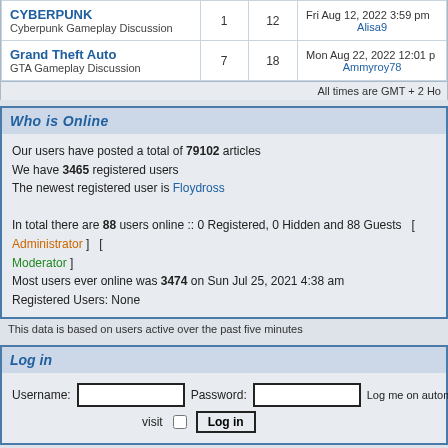| Forum | Posts | Topics | Last Post |
| --- | --- | --- | --- |
| CYBERPUNK
Cyberpunk Gameplay Discussion | 1 | 12 | Fri Aug 12, 2022 3:59 pm
Alisa9 |
| Grand Theft Auto
GTA Gameplay Discussion | 7 | 18 | Mon Aug 22, 2022 12:01 pm
Ammyroy78 |
All times are GMT + 2 Ho
Who is Online
Our users have posted a total of 79102 articles
We have 3465 registered users
The newest registered user is Floydross

In total there are 88 users online :: 0 Registered, 0 Hidden and 88 Guests  [ Administrator ]  [ Moderator ]
Most users ever online was 3474 on Sun Jul 25, 2021 4:38 am
Registered Users: None
This data is based on users active over the past five minutes
Log in
Username:  Password:  Log me on automatically each visit  Log in
New posts    No new posts    Forum is locked
Powered by phpBB © 2001, 2666 phpBB Group